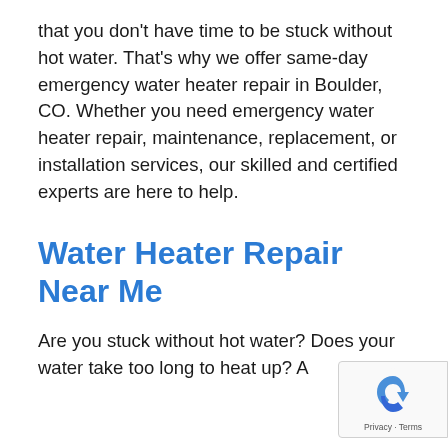that you don't have time to be stuck without hot water. That's why we offer same-day emergency water heater repair in Boulder, CO. Whether you need emergency water heater repair, maintenance, replacement, or installation services, our skilled and certified experts are here to help.
Water Heater Repair Near Me
Are you stuck without hot water? Does your water take too long to heat up? A